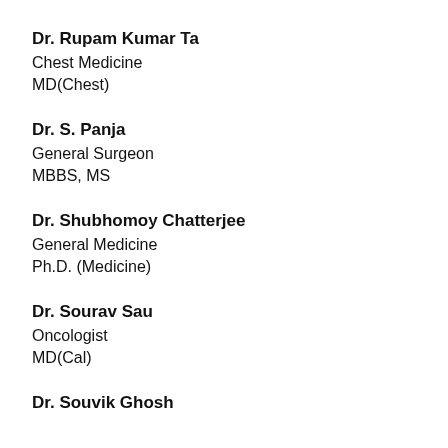Dr. Rupam Kumar Ta
Chest Medicine
MD(Chest)
Dr. S. Panja
General Surgeon
MBBS, MS
Dr. Shubhomoy Chatterjee
General Medicine
Ph.D. (Medicine)
Dr. Sourav Sau
Oncologist
MD(Cal)
Dr. Souvik Ghosh